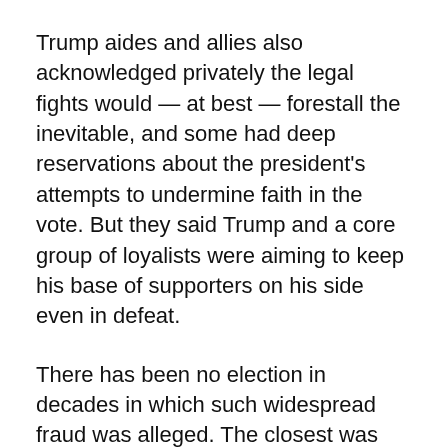Trump aides and allies also acknowledged privately the legal fights would — at best — forestall the inevitable, and some had deep reservations about the president's attempts to undermine faith in the vote. But they said Trump and a core group of loyalists were aiming to keep his base of supporters on his side even in defeat.
There has been no election in decades in which such widespread fraud was alleged. The closest was the 1960 election in which Democrat John F. Kennedy beat Republican Richard Nixon, and there were allegations that fraud helped Kennedy win.
Moments after the AP called the race for Biden, Trump attorney Rudy Giuliani stood in front of campaign banner taped over the garage door of a landscaping company in Philadelphia, wedged between a cremation